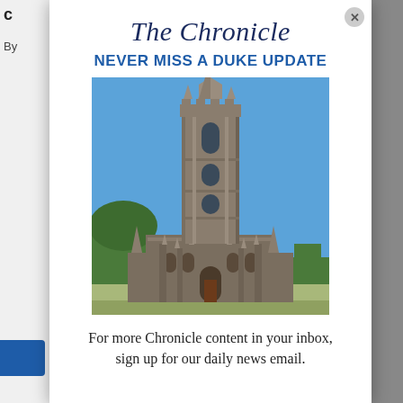The Chronicle
NEVER MISS A DUKE UPDATE
[Figure (photo): Duke Chapel, a large Gothic stone cathedral tower against a clear blue sky, with trees visible at the base.]
For more Chronicle content in your inbox, sign up for our daily news email.